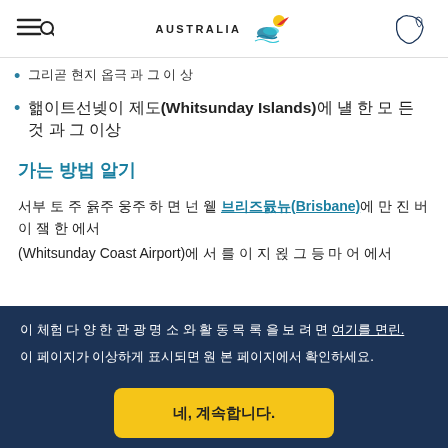Tourism Australia website header with menu, logo, and map icon
화이트선데이 제도(Whitsunday Islands)에 대한 모든 것과 그 이상
가는 방법 알기
퀸즐랜드 관광을 위한 관문 도시 브리즈번(Brisbane)에서비행기로 이동하거나 (Whitsunday Coast Airport)에 이 지역 위트선데이 코스트 공항 에서 연결편을 이용하세요.
이 지역의 다양한 관광 명소와 활동 목록을 보려면 여기를 클릭, 방문하세요.
이 페이지가 이상하게 표시되면 원본 페이지에서 확인하세요.
네, 계속합니다.